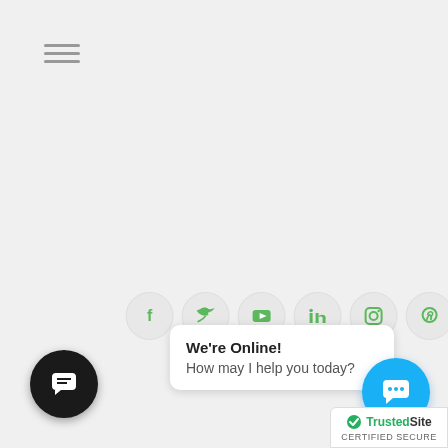[Figure (screenshot): Hamburger menu icon (three horizontal gray lines) in the top-left corner of a webpage]
[Figure (infographic): Row of six circular social media icon buttons (Facebook, Twitter, YouTube, LinkedIn, Instagram, Pinterest) with green icons on light gray circles]
We're Online!
How may I help you today?
[Figure (illustration): Black circular chat button with white chat/message icon (bottom left)]
[Figure (illustration): Blue circular chat button with white chat dots icon (bottom right)]
[Figure (logo): TrustedSite CERTIFIED SECURE badge with green checkmark]